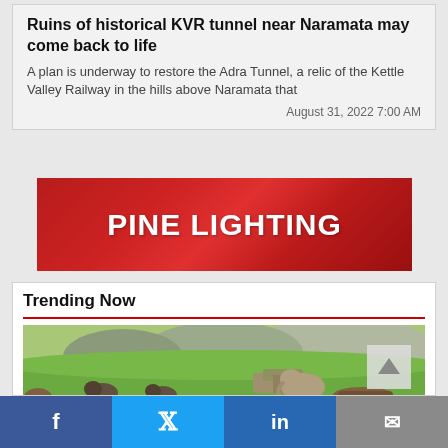Ruins of historical KVR tunnel near Naramata may come back to life
A plan is underway to restore the Adra Tunnel, a relic of the Kettle Valley Railway in the hills above Naramata that
August 31, 2022 7:00 AM
[Figure (illustration): Red advertisement banner with white bold text reading PINE LIGHTING]
Trending Now
[Figure (photo): Outdoor scene showing an elephant and bison grazing on a green grassy landscape with rocky hills in the background]
Facebook  Twitter  LinkedIn  Email